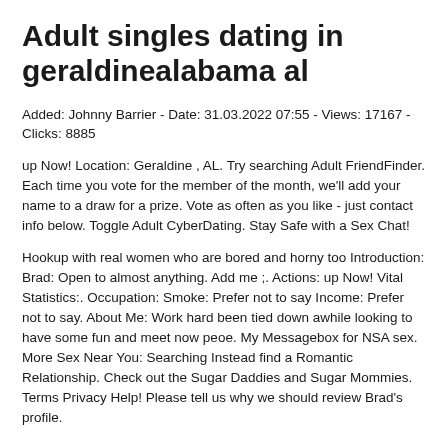Adult singles dating in geraldinealabama al
Added: Johnny Barrier - Date: 31.03.2022 07:55 - Views: 17167 - Clicks: 8885
up Now! Location: Geraldine , AL. Try searching Adult FriendFinder. Each time you vote for the member of the month, we'll add your name to a draw for a prize. Vote as often as you like - just contact info below. Toggle Adult CyberDating. Stay Safe with a Sex Chat!
Hookup with real women who are bored and horny too Introduction: Brad: Open to almost anything. Add me ;. Actions: up Now! Vital Statistics:. Occupation: Smoke: Prefer not to say Income: Prefer not to say. About Me: Work hard been tied down awhile looking to have some fun and meet now peoe. My Messagebox for NSA sex. More Sex Near You: Searching Instead find a Romantic Relationship. Check out the Sugar Daddies and Sugar Mommies. Terms Privacy Help! Please tell us why we should review Brad's profile.